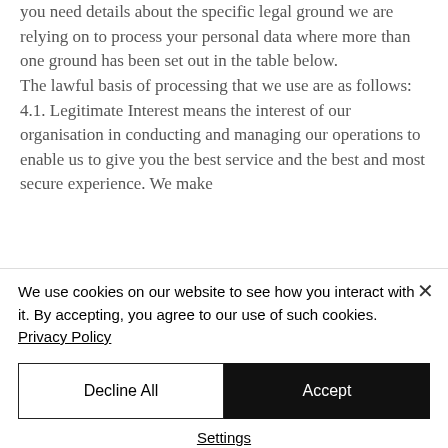you need details about the specific legal ground we are relying on to process your personal data where more than one ground has been set out in the table below. The lawful basis of processing that we use are as follows: 4.1. Legitimate Interest means the interest of our organisation in conducting and managing our operations to enable us to give you the best service and the best and most secure experience. We make
We use cookies on our website to see how you interact with it. By accepting, you agree to our use of such cookies. Privacy Policy
Decline All
Accept
Settings